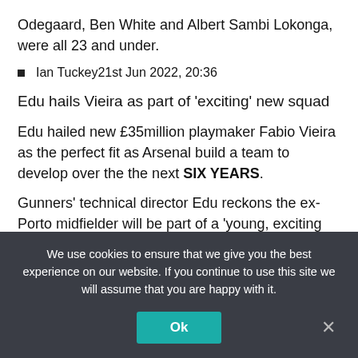Odegaard, Ben White and Albert Sambi Lokonga, were all 23 and under.
Ian Tuckey21st Jun 2022, 20:36
Edu hails Vieira as part of 'exciting' new squad
Edu hailed new £35million playmaker Fabio Vieira as the perfect fit as Arsenal build a team to develop over the the next SIX YEARS.
Gunners' technical director Edu reckons the ex-Porto midfielder will be part of a 'young, exciting squad' designed to 'play together for two, three, four, five or six seasons'.
We use cookies to ensure that we give you the best experience on our website. If you continue to use this site we will assume that you are happy with it.